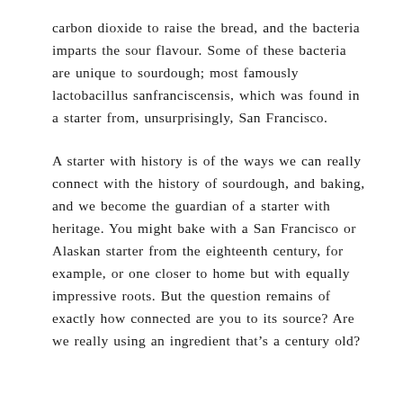carbon dioxide to raise the bread, and the bacteria imparts the sour flavour. Some of these bacteria are unique to sourdough; most famously lactobacillus sanfranciscensis, which was found in a starter from, unsurprisingly, San Francisco.
A starter with history is of the ways we can really connect with the history of sourdough, and baking, and we become the guardian of a starter with heritage. You might bake with a San Francisco or Alaskan starter from the eighteenth century, for example, or one closer to home but with equally impressive roots. But the question remains of exactly how connected are you to its source? Are we really using an ingredient that's a century old?